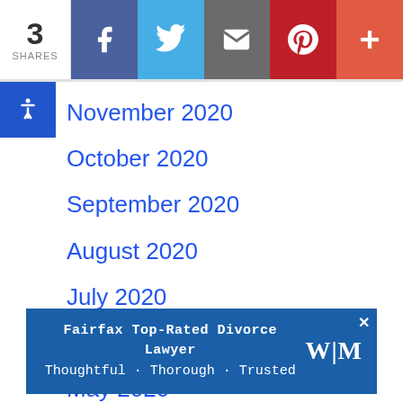3 SHARES | Facebook | Twitter | Email | Pinterest | More
November 2020
October 2020
September 2020
August 2020
July 2020
June 2020
May 2020
April 2020
March 2020
February 2020
January 2020
Fairfax Top-Rated Divorce Lawyer · Thoughtful · Thorough · Trusted